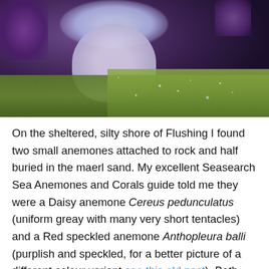[Figure (photo): Underwater photograph showing sea anemones with pale blue-purple tentacles attached to rock, surrounded by green algae-covered substrate, with purple-tinged corals or other anemones visible in the upper left.]
On the sheltered, silty shore of Flushing I found two small anemones attached to rock and half buried in the maerl sand. My excellent Seasearch Sea Anemones and Corals guide told me they were a Daisy anemone Cereus pedunculatus (uniform greay with many very short tentacles) and a Red speckled anemone Anthopleura balli (purplish and speckled, for a better picture of a different colour variant see this old post). Both quickly half buried/half nestled themselves under a rock so only the tentacles and the mouth are visible. They take pieces of